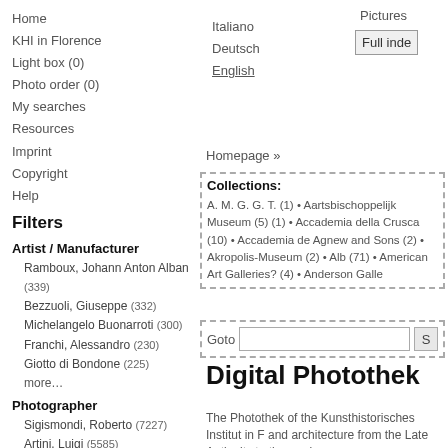Home
KHI in Florence
Light box (0)
Photo order (0)
My searches
Resources
Imprint
Copyright
Help
Italiano
Deutsch
English
Pictures
Full inde
Filters
Homepage »
Artist / Manufacturer
Ramboux, Johann Anton Alban (339)
Bezzuoli, Giuseppe (332)
Michelangelo Buonarroti (300)
Franchi, Alessandro (230)
Giotto di Bondone (225)
more…
Photographer
Sigismondi, Roberto (7227)
Artini, Luigi (5585)
unbekannt (2810)
Bazzechi, Ivo (2113)
Bacherini, Paolo (1918)
more
| Collections: |
| --- |
| A. M. G. G. T. (1) • Aartsbischoppelijk Museum (5) (1) • Accademia della Crusca (10) • Accademia de Agnew and Sons (2) • Akropolis-Museum (2) • Alb (71) • American Art Galleries? (4) • Anderson Galle |
Goto [input] [S]
Digital Photothek
The Photothek of the Kunsthistorisches Institut in F and architecture from the Late Antiquity to the mod